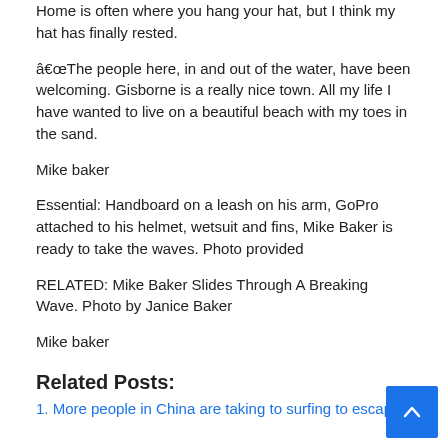Home is often where you hang your hat, but I think my hat has finally rested.
â€œThe people here, in and out of the water, have been welcoming. Gisborne is a really nice town. All my life I have wanted to live on a beautiful beach with my toes in the sand.
Mike baker
Essential: Handboard on a leash on his arm, GoPro attached to his helmet, wetsuit and fins, Mike Baker is ready to take the waves. Photo provided
RELATED: Mike Baker Slides Through A Breaking Wave. Photo by Janice Baker
Mike baker
Related Posts:
1. More people in China are taking to surfing to escape